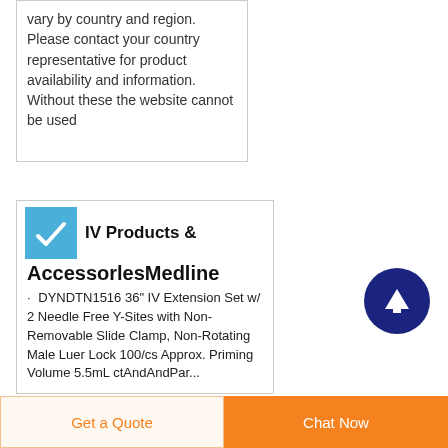vary by country and region. Please contact your country representative for product availability and information. Without these the website cannot be used
[Figure (logo): Blue square icon with white checkmark/wave symbol representing IV products]
IV Products & AccessorlesMedline
DYNDTN1516 36" IV Extension Set w/ 2 Needle Free Y-Sites with Non-Removable Slide Clamp, Non-Rotating Male Luer Lock 100/cs Approx. Priming Volume 5.5mL ctAndAndPar...
[Figure (other): Dark navy blue circular scroll-to-top button with white upward arrow]
Get a Quote
Chat Now